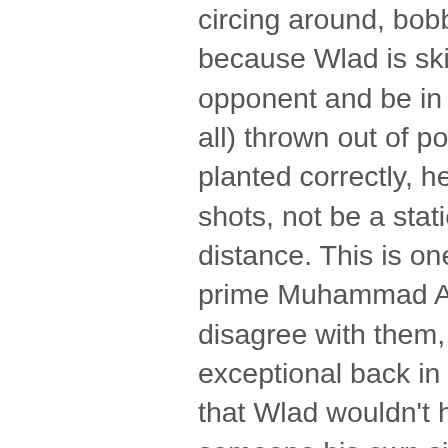circing around, bobbing and weaving is not really effective because Wlad is skilled enough to keep up with his opponent and be in front of him all the time. He's rarely (if at all) thrown out of position, his feet and body are always planted correctly, he can put enough leverage behind his shots, not be a stationary target and be at a correct distance. This is one of reasons why, when people say prime Muhammad Ali would beat Wladimir, I tend to disagree with them, because while his fighting ability was exceptional back in the 60's and 70's, it had almost nothing that Wlad wouldn't have an answer for. Ali rarely faced someone his own size or bigger, and even when he did, those guys' movement, athleticism and overall in-ring IQ was nowhere near the calibre of the Klitschkos, Lennox Lewis, Anthony Joshua or Tyson Fury. It's not a dig at Ali, though. Every generation of top-3 (cca) heavyweights are always a bit better than the previous one because they learn from their predecessors and advance what they've learnt. It's a natural process of accumulating the knowledge that already exists and